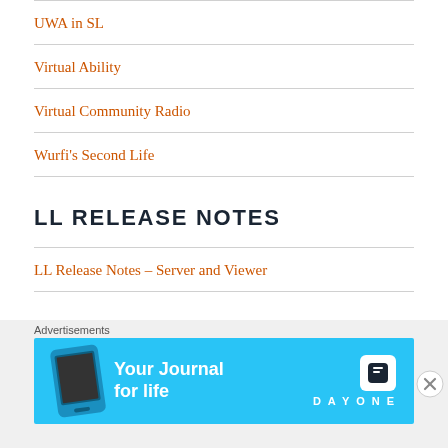UWA in SL
Virtual Ability
Virtual Community Radio
Wurfi's Second Life
LL RELEASE NOTES
LL Release Notes – Server and Viewer
MAINTAINED VIEWERS & CLIENTS
Advertisements
[Figure (infographic): Day One app advertisement banner: 'Your Journal for life' with phone image and DAYONE logo on cyan background]